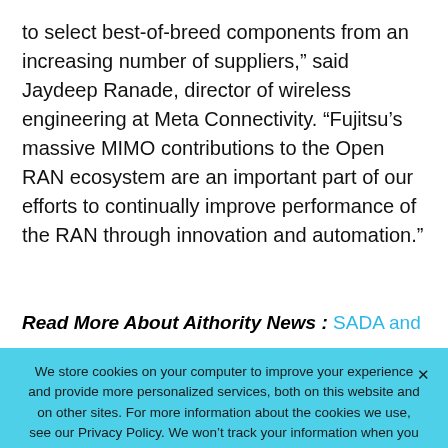to select best-of-breed components from an increasing number of suppliers,” said Jaydeep Ranade, director of wireless engineering at Meta Connectivity. “Fujitsu’s massive MIMO contributions to the Open RAN ecosystem are an important part of our efforts to continually improve performance of the RAN through innovation and automation.”
Read More About Aithority News : SADA and
We store cookies on your computer to improve your experience and provide more personalized services, both on this website and on other sites. For more information about the cookies we use, see our Privacy Policy. We won’t track your information when you visit our site. We will have to use at least one cookie to ensure that you won’t have to make this choice again.
Accept   Decline   Privacy Policy